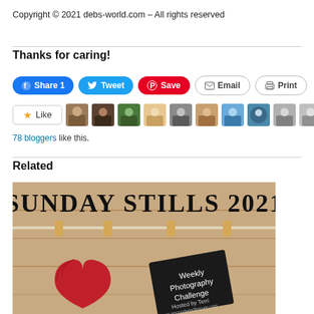Copyright © 2021 debs-world.com – All rights reserved
Thanks for caring!
[Figure (screenshot): Social sharing buttons: Facebook Share 1, Twitter Tweet, Pinterest Save, Email, Print]
[Figure (screenshot): Like button with star icon and row of 11 blogger avatar thumbnails plus a decorative icon]
78 bloggers like this.
Related
[Figure (photo): Sunday Stills 2021 Weekly Photography Challenge promotional image with wooden background, clothespins on rope, red knitted heart, and a black card reading 'Weekly Photography Challenge Hosted by Terri www.secondwindleisure.com']